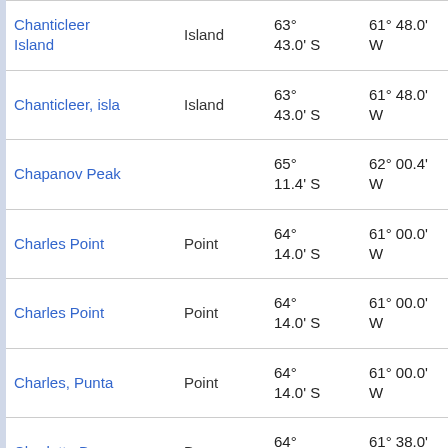| Name | Type | Latitude | Longitude | ... |
| --- | --- | --- | --- | --- |
| Chanticleer Island | Island | 63° 43.0' S | 61° 48.0' W | 93... at |
| Chanticleer, isla | Island | 63° 43.0' S | 61° 48.0' W | 93... at |
| Chapanov Peak |  | 65° 11.4' S | 62° 00.4' W | 73... at |
| Charles Point | Point | 64° 14.0' S | 61° 00.0' W | 46... at |
| Charles Point | Point | 64° 14.0' S | 61° 00.0' W | 46... at |
| Charles, Punta | Point | 64° 14.0' S | 61° 00.0' W | 46... at |
| Charlotte Bay | Bay | 64° 35.0' S | 61° 38.0' W | 3.... 18 |
| Charlotte Bay | Bay | 64° 33.0' S | 61° 39.0' W | 0.... 27 |